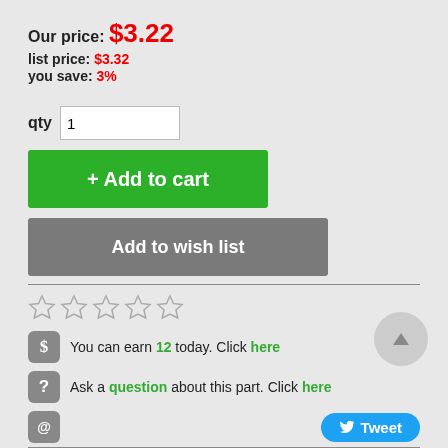Our price: $3.22
list price: $3.32
you save: 3%
qty  1
+ Add to cart
Add to wish list
[Figure (other): Five empty star rating icons]
You can earn 12 today. Click here
Ask a question about this part. Click here
Tweet
Details